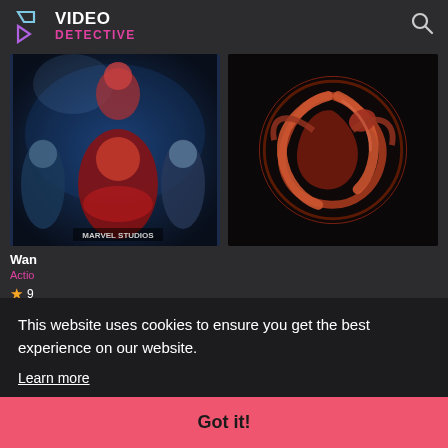[Figure (logo): Video Detective logo with stylized play button icon and text]
[Figure (photo): WandaVision Marvel Studios promotional poster with multiple characters]
[Figure (photo): House of the Dragon Targaryen dragon sigil logo on dark background]
Wan
Actio
9
This website uses cookies to ensure you get the best experience on our website.
Learn more
Got it!